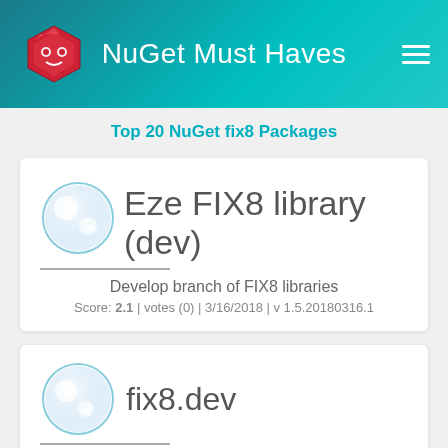NuGet Must Haves
Top 20 NuGet fix8 Packages
Eze FIX8 library (dev)
Develop branch of FIX8 libraries
Score: 2.1 | votes (0) | 3/16/2018 | v 1.5.20180316.1
fix8.dev